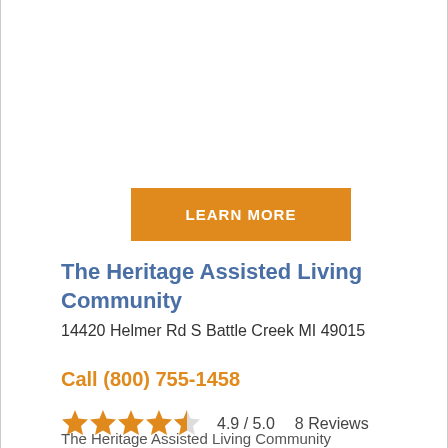[Figure (other): Orange LEARN MORE button]
The Heritage Assisted Living Community
14420 Helmer Rd S Battle Creek MI 49015
Call (800) 755-1458
[Figure (other): Star rating: 4.9 / 5.0, 4.5 stars filled, 8 Reviews]
The Heritage Assisted Living Community